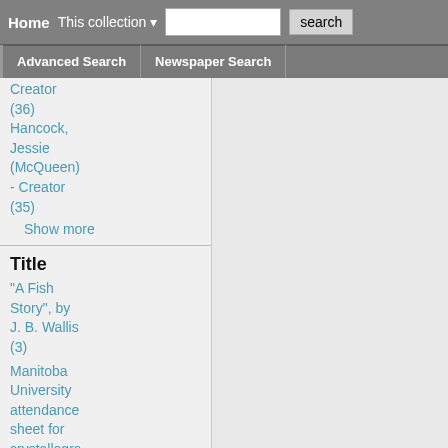Home | This collection ▾ | [search input] | search
Advanced Search | Newspaper Search
Creator (36)
Hancock, Jessie (McQueen) - Creator (35)
Show more
Title
"A Fish Story", by J. B. Wallis (3)
Manitoba University attendance sheet for crystallography and physics classes, January